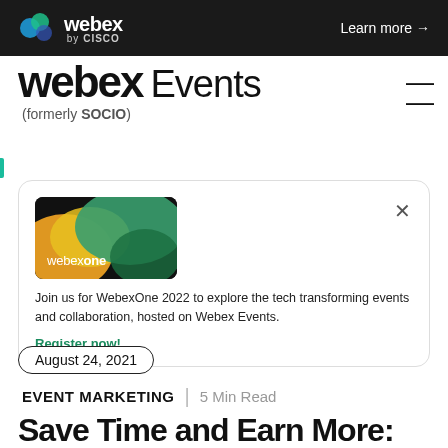webex by CISCO | Learn more →
webex Events (formerly SOCIO)
[Figure (screenshot): WebexOne promotional card with webexone logo image showing orange, yellow, and green swoosh design on dark background. Text: 'Join us for WebexOne 2022 to explore the tech transforming events and collaboration, hosted on Webex Events.' with 'Register now!' link. Close (×) button in top right.]
August 24, 2021
EVENT MARKETING | 5 Min Read
Save Time and Earn More: